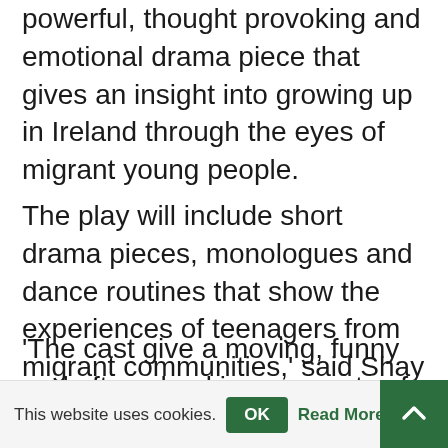powerful, thought provoking and emotional drama piece that gives an insight into growing up in Ireland through the eyes of migrant young people.
The play will include short drama pieces, monologues and dance routines that show the experiences of teenagers from migrant communities,' said Shay Moloney, LYS.
'The cast give a moving, funny and often shocking accounts of personal experiences touching on issues such as racism, living in the direct provision system and adapting to Irish
This website uses cookies.  OK  Read More